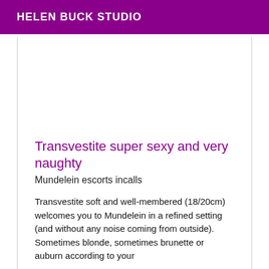HELEN BUCK STUDIO
Transvestite super sexy and very naughty
Mundelein escorts incalls
Transvestite soft and well-membered (18/20cm) welcomes you to Mundelein in a refined setting (and without any noise coming from outside). Sometimes blonde, sometimes brunette or auburn according to your